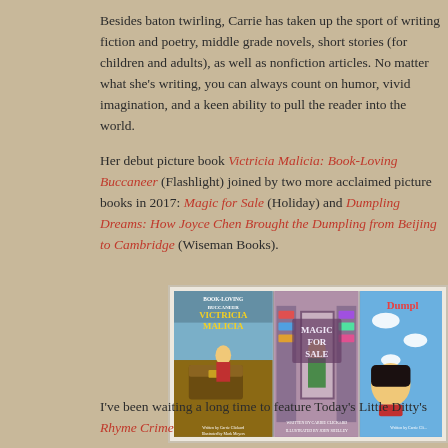Besides baton twirling, Carrie has taken up the sport of writing fiction and poetry, middle grade novels, short stories (for children and adults), as well as nonfiction articles. No matter what she's writing, you can always count on humor, vivid imagination, and a keen ability to pull the reader into the world.
Her debut picture book Victricia Malicia: Book-Loving Buccaneer (Flashlight) joined by two more acclaimed picture books in 2017: Magic for Sale (Holiday) and Dumpling Dreams: How Joyce Chen Brought the Dumpling from Beijing to Cambridge (Wiseman Books).
[Figure (photo): Three children's picture book covers side by side: 'Victricia Malicia' showing a pirate scene, 'Magic for Sale' showing a red-haired character in a magic shop, and 'Dumpling Dreams' showing a girl with black hair against a blue sky.]
I've been waiting a long time to feature Today's Little Ditty's Rhyme Crime...